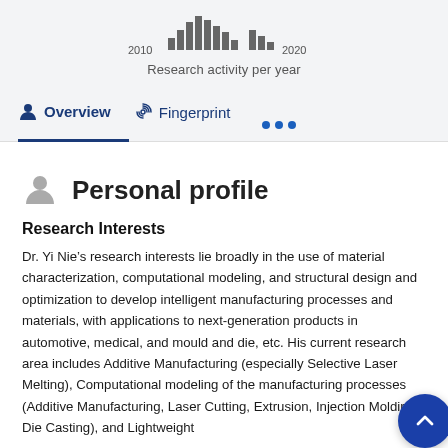[Figure (bar-chart): Research activity per year]
Research activity per year
Overview   Fingerprint   ...
Personal profile
Research Interests
Dr. Yi Nie’s research interests lie broadly in the use of material characterization, computational modeling, and structural design and optimization to develop intelligent manufacturing processes and materials, with applications to next-generation products in automotive, medical, and mould and die, etc. His current research area includes Additive Manufacturing (especially Selective Laser Melting), Computational modeling of the manufacturing processes (Additive Manufacturing, Laser Cutting, Extrusion, Injection Molding, Die Casting), and Lightweight